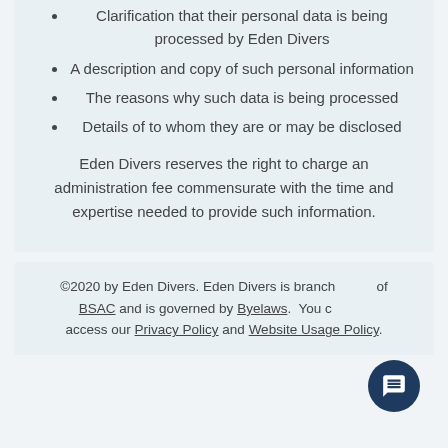Clarification that their personal data is being processed by Eden Divers
A description and copy of such personal information
The reasons why such data is being processed
Details of to whom they are or may be disclosed
Eden Divers reserves the right to charge an administration fee commensurate with the time and expertise needed to provide such information.
©2020 by Eden Divers. Eden Divers is branch of BSAC and is governed by Byelaws. You can access our Privacy Policy and Website Usage Policy.